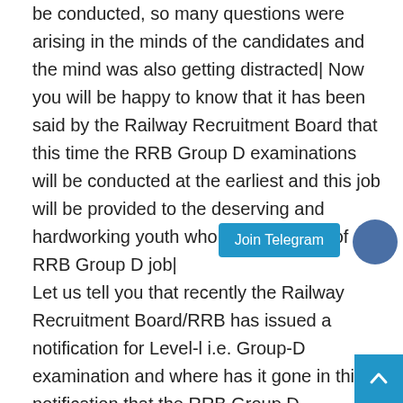be conducted, so many questions were arising in the minds of the candidates and the mind was also getting distracted| Now you will be happy to know that it has been said by the Railway Recruitment Board that this time the RRB Group D examinations will be conducted at the earliest and this job will be provided to the deserving and hardworking youth who are dreaming of an RRB Group D job|
Let us tell you that recently the Railway Recruitment Board/RRB has issued a notification for Level-l i.e. Group-D examination and where has it gone in this notification that the RRB Group D examinations will be conducted at the earliest and the admit cards of the candidates will be issued soon and the candidates have been advised to prepared for the exam| In this recruitment conducted by